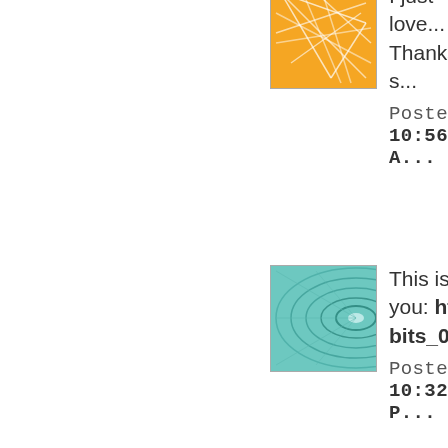[Figure (illustration): Orange avatar with geometric network pattern]
I just love... Thanks s...
Posted 10:56 A...
[Figure (illustration): Teal/green avatar with spiral tunnel pattern]
This is su... you: http... bits_05.h...
Posted 10:32 P...
[Figure (illustration): Green avatar with starburst/flower pattern]
I just feat... come and... for such a... http://alit... ill-have-t...
Posted AM